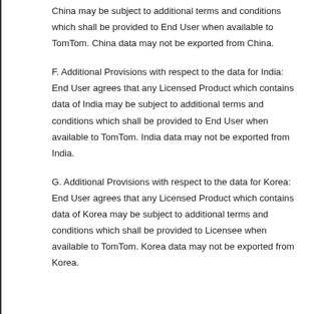China may be subject to additional terms and conditions which shall be provided to End User when available to TomTom. China data may not be exported from China.
F. Additional Provisions with respect to the data for India: End User agrees that any Licensed Product which contains data of India may be subject to additional terms and conditions which shall be provided to End User when available to TomTom. India data may not be exported from India.
G. Additional Provisions with respect to the data for Korea: End User agrees that any Licensed Product which contains data of Korea may be subject to additional terms and conditions which shall be provided to Licensee when available to TomTom. Korea data may not be exported from Korea.